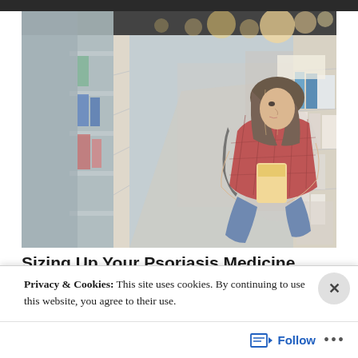[Figure (photo): A young woman in a red plaid shirt crouching in a store aisle, reading the label on a product. Store shelves with various products are visible in the background, with warm bokeh lighting overhead.]
Sizing Up Your Psoriasis Medicine Cabinet
Privacy & Cookies: This site uses cookies. By continuing to use this website, you agree to their use.
To find out more, including how to control cookies, see here: Cookie Policy
Close and accept
Follow ...